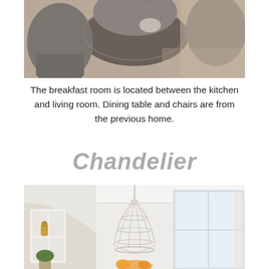[Figure (photo): Interior photo showing a dining area with gray upholstered chairs around a round table, hardwood floors visible.]
The breakfast room is located between the kitchen and living room. Dining table and chairs are from the previous home.
Chandelier
[Figure (photo): Interior photo showing a bright breakfast room with a white beaded chandelier hanging from the ceiling, white kitchen cabinetry visible through an archway, large windows with natural light, and orange flowers on the table.]